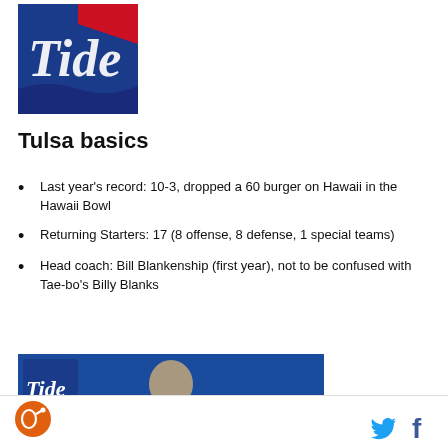[Figure (logo): Tulsa Golden Hurricane athletic logo in blue and red]
Tulsa basics
Last year's record: 10-3, dropped a 60 burger on Hawaii in the Hawaii Bowl
Returning Starters: 17 (8 offense, 8 defense, 1 special teams)
Head coach: Bill Blankenship (first year), not to be confused with Tae-bo's Billy Blanks
[Figure (photo): Photo of head coach Bill Blankenship at a press conference with Tulsa branding in background]
SB Nation logo | Twitter icon | Facebook icon